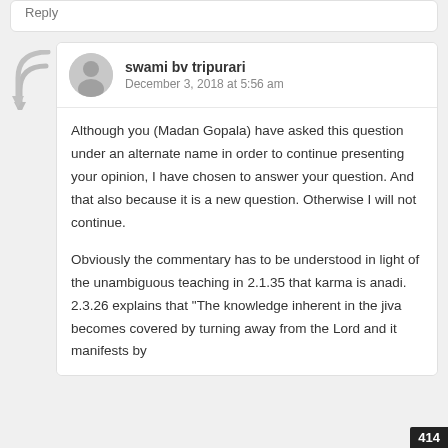Reply
swami bv tripurari
December 3, 2018 at 5:56 am
Although you (Madan Gopala) have asked this question under an alternate name in order to continue presenting your opinion, I have chosen to answer your question. And that also because it is a new question. Otherwise I will not continue.
Obviously the commentary has to be understood in light of the unambiguous teaching in 2.1.35 that karma is anadi. 2.3.26 explains that “The knowledge inherent in the jiva becomes covered by turning away from the Lord and it manifests by
414